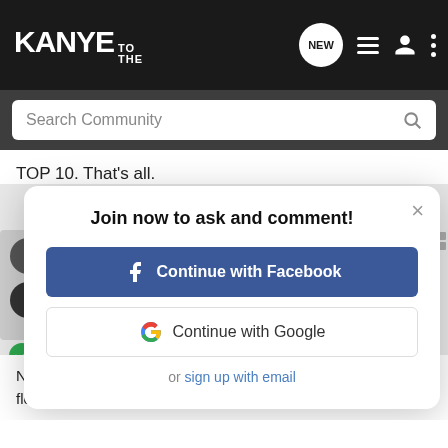KANYE TO THE
TOP 10. That's all.
[Figure (screenshot): Modal dialog with title 'Join now to ask and comment!' with buttons 'Continue with Facebook' and 'Continue with Google' and link 'or sign up with email']
Never said he was a top 10 rapper or artists, but as far as flows no one that debuted in 00's is better